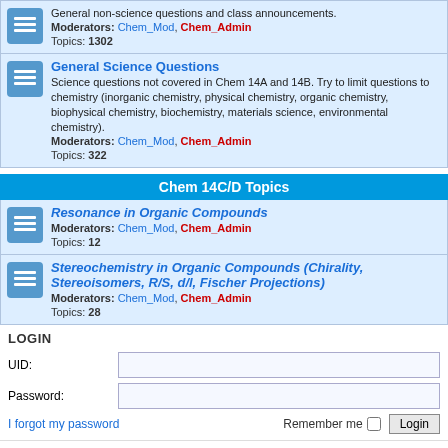General non-science questions and class announcements. Moderators: Chem_Mod, Chem_Admin Topics: 1302
General Science Questions
Science questions not covered in Chem 14A and 14B. Try to limit questions to chemistry (inorganic chemistry, physical chemistry, organic chemistry, biophysical chemistry, biochemistry, materials science, environmental chemistry). Moderators: Chem_Mod, Chem_Admin Topics: 322
Chem 14C/D Topics
Resonance in Organic Compounds Moderators: Chem_Mod, Chem_Admin Topics: 12
Stereochemistry in Organic Compounds (Chirality, Stereoisomers, R/S, d/l, Fischer Projections) Moderators: Chem_Mod, Chem_Admin Topics: 28
LOGIN
UID:
Password:
I forgot my password
Remember me  Login
WHO IS ONLINE
In total there are 59 users online :: 1 registered, 0 hidden and 58 guests (based